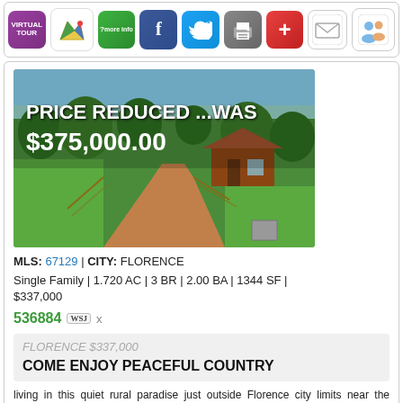[Figure (other): Row of action icons: Virtual Tour, Map, More Info, Facebook, Twitter, Print, Plus, Mail, People]
[Figure (photo): Aerial/drone photo of rural property with red dirt driveway, green lawn, farmhouse, trees. Overlay text: PRICE REDUCED ...WAS $375,000.00]
MLS: 67129 | CITY: FLORENCE
Single Family | 1.720 AC | 3 BR | 2.00 BA | 1344 SF | $337,000
536884 WSJ x
FLORENCE $337,000
COME ENJOY PEACEFUL COUNTRY
living in this quiet rural paradise just outside Florence city limits near the Arkansas River! This charming 3 bedroom, 2 bath, 1344 sq ft bungalow, built in 1949, sits